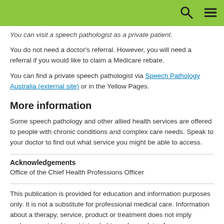You can visit a speech pathologist as a private patient.
You do not need a doctor's referral. However, you will need a referral if you would like to claim a Medicare rebate.
You can find a private speech pathologist via Speech Pathology Australia (external site) or in the Yellow Pages.
More information
Some speech pathology and other allied health services are offered to people with chronic conditions and complex care needs. Speak to your doctor to find out what service you might be able to access.
Acknowledgements
Office of the Chief Health Professions Officer
This publication is provided for education and information purposes only. It is not a substitute for professional medical care. Information about a therapy, service, product or treatment does not imply endorsement and is not intended to replace advice from